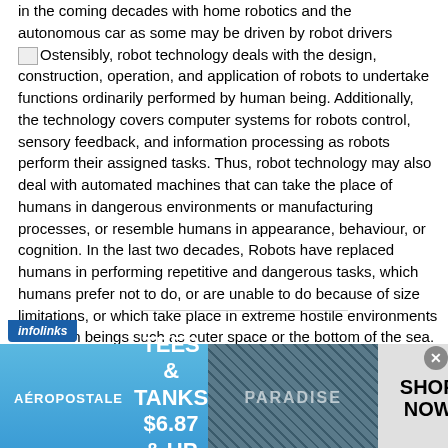in the coming decades with home robotics and the autonomous car as some may be driven by robot drivers
Ostensibly, robot technology deals with the design, construction, operation, and application of robots to undertake functions ordinarily performed by human being. Additionally, the technology covers computer systems for robots control, sensory feedback, and information processing as robots perform their assigned tasks. Thus, robot technology may also deal with automated machines that can take the place of humans in dangerous environments or manufacturing processes, or resemble humans in appearance, behaviour, or cognition. In the last two decades, Robots have replaced humans in performing repetitive and dangerous tasks, which humans prefer not to do, or are unable to do because of size limitations, or which take place in extreme hostile environments to human beings such as outer space or the bottom of the sea.
[Figure (screenshot): Aeropostale advertisement banner with infolinks label. Blue gradient background. Text: TEES & TANKS $6.87 & UP. Brand name AEROPOSTALE on left. SHOP NOW on right. Close button with X. Background image showing dark fabric with text PARADISE.]